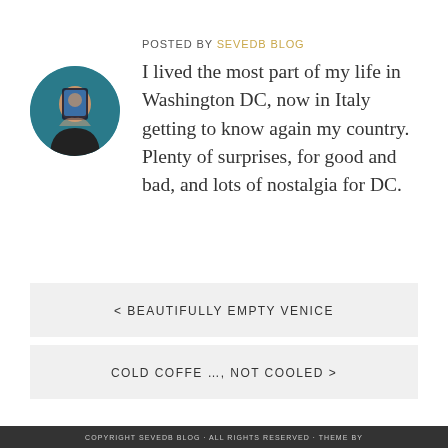POSTED BY SEVEDB BLOG
I lived the most part of my life in Washington DC, now in Italy getting to know again my country. Plenty of surprises, for good and bad, and lots of nostalgia for DC.
< BEAUTIFULLY EMPTY VENICE
COLD COFFE …, NOT COOLED >
COPYRIGHT SEVEDB BLOG · ALL RIGHTS RESERVED